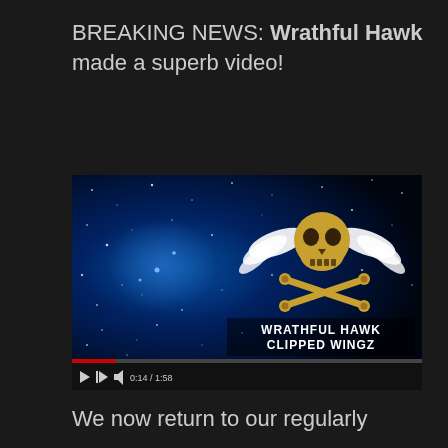BREAKING NEWS: Wrathful Hawk made a superb video!
[Figure (screenshot): YouTube video player showing 'WRATHFUL HAWK CLIPPED WINGZ' with a skull and crossbones with wings logo on a blue starry space background. Video controls show play button, next button, volume, and time 0:14/1:58.]
We now return to our regularly